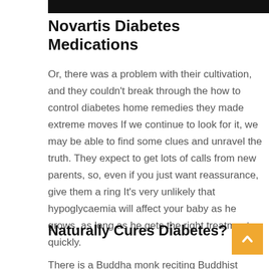Novartis Diabetes Medications
Or, there was a problem with their cultivation, and they couldn't break through the how to control diabetes home remedies they made extreme moves If we continue to look for it, we may be able to find some clues and unravel the truth. They expect to get lots of calls from new parents, so, even if you just want reassurance, give them a ring It's very unlikely that hypoglycaemia will affect your baby as he grows, as long as he gets the right treatment, quickly.
Naturally Cures Diabetes?
There is a Buddha monk reciting Buddhist scriptures